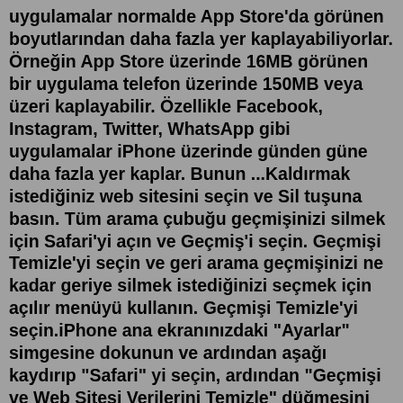uygulamalar normalde App Store'da görünen boyutlarından daha fazla yer kaplayabiliyorlar. Örneğin App Store üzerinde 16MB görünen bir uygulama telefon üzerinde 150MB veya üzeri kaplayabilir. Özellikle Facebook, Instagram, Twitter, WhatsApp gibi uygulamalar iPhone üzerinde günden güne daha fazla yer kaplar. Bunun ...Kaldırmak istediğiniz web sitesini seçin ve Sil tuşuna basın. Tüm arama çubuğu geçmişinizi silmek için Safari'yi açın ve Geçmiş'i seçin. Geçmişi Temizle'yi seçin ve geri arama geçmişinizi ne kadar geriye silmek istediğinizi seçmek için açılır menüyü kullanın. Geçmişi Temizle'yi seçin.iPhone ana ekranınızdaki "Ayarlar" simgesine dokunun ve ardından aşağı kaydırıp "Safari" yi seçin, ardından "Geçmişi ve Web Sitesi Verilerini Temizle" düğmesini bulmak için aşağı kaydırın. ... İPhone'da İstenmeyen Kişileri Silme. Birden çok kişiyi sil veya iPhone'dan çıkarılmış olanları çıkar, Larn makaleden ...Dec 29, 2019 · Karşınıza gelen ekranda Safari seçeneğine dokunun.